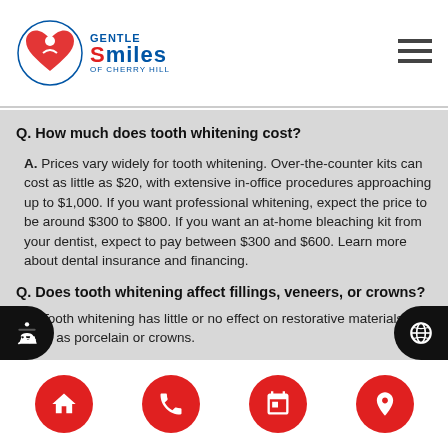Gentle Smiles of Cherry Hill
Q. How much does tooth whitening cost?
A. Prices vary widely for tooth whitening. Over-the-counter kits can cost as little as $20, with extensive in-office procedures approaching up to $1,000. If you want professional whitening, expect the price to be around $300 to $800. If you want an at-home bleaching kit from your dentist, expect to pay between $300 and $600. Learn more about dental insurance and financing.
Q. Does tooth whitening affect fillings, veneers, or crowns?
A. Tooth whitening has little or no effect on restorative materials such as porcelain or crowns.
Navigation: Home, Phone, Calendar, Location